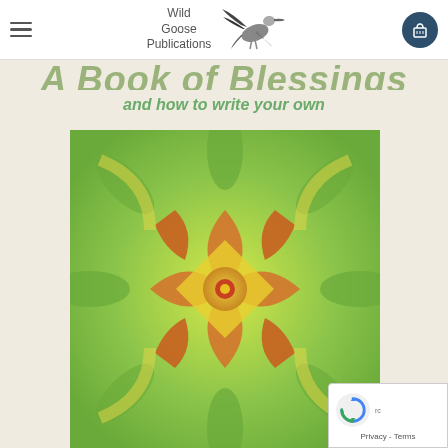Wild Goose Publications — navigation header with hamburger menu and cart button
A Book of Blessings and how to write your own
[Figure (illustration): Book cover artwork showing a colorful symmetrical mandala-like floral pattern with warm orange and red tones on a yellow-green background, seen from above as though looking at the book cover]
Privacy - Terms (reCAPTCHA badge)